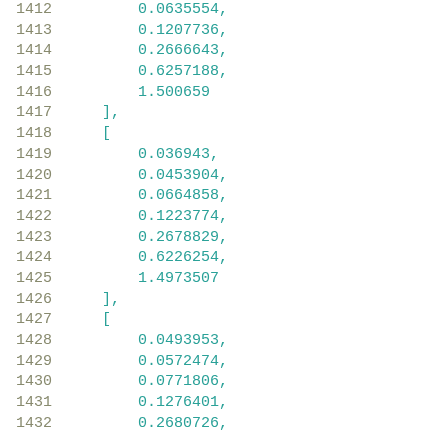1412    0.0635554,
1413    0.1207736,
1414    0.2666643,
1415    0.6257188,
1416    1.500659
1417    ],
1418    [
1419    0.036943,
1420    0.0453904,
1421    0.0664858,
1422    0.1223774,
1423    0.2678829,
1424    0.6226254,
1425    1.4973507
1426    ],
1427    [
1428    0.0493953,
1429    0.0572474,
1430    0.0771806,
1431    0.1276401,
1432    0.2680726,